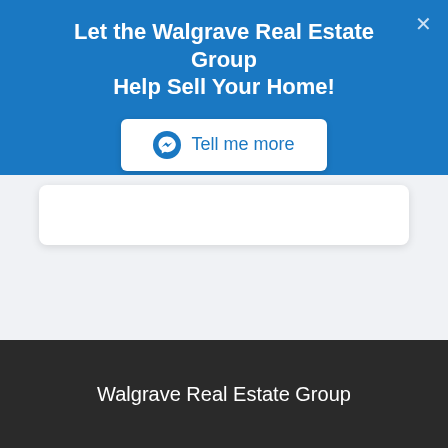Let the Walgrave Real Estate Group Help Sell Your Home!
[Figure (screenshot): Facebook Messenger 'Tell me more' CTA button with messenger icon on white rounded rectangle background]
[Figure (screenshot): White card area on light gray background below the blue banner]
Walgrave Real Estate Group